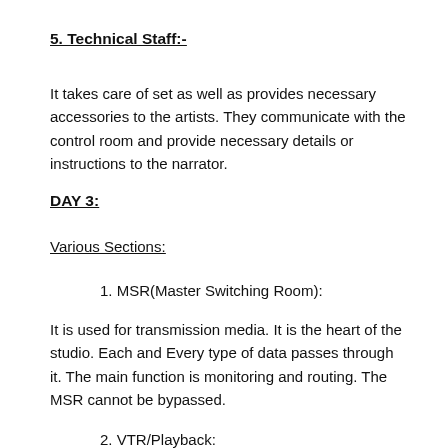5. Technical Staff:-
It takes care of set as well as provides necessary accessories to the artists. They communicate with the control room and provide necessary details or instructions to the narrator.
DAY 3:
Various Sections:
1. MSR(Master Switching Room):
It is used for transmission media. It is the heart of the studio. Each and Every type of data passes through it. The main function is monitoring and routing. The MSR cannot be bypassed.
2. VTR/Playback: